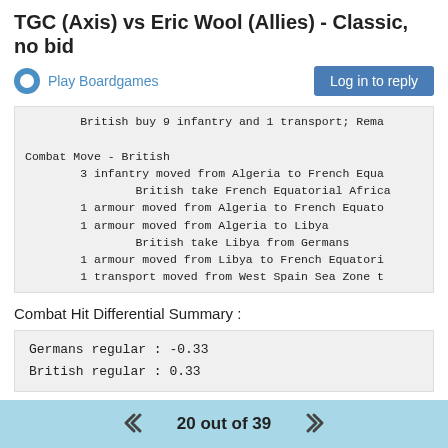TGC (Axis) vs Eric Wool (Allies) - Classic, no bid
Play Boardgames
British buy 9 infantry and 1 transport; Rema

Combat Move - British
        3 infantry moved from Algeria to French Equa
                British take French Equatorial Africa
        1 armour moved from Algeria to French Equato
        1 armour moved from Algeria to Libya
                British take Libya from Germans
        1 armour moved from Libya to French Equatori
        1 transport moved from West Spain Sea Zone t
Combat Hit Differential Summary :
Germans regular : -0.33
British regular : 0.33
Savegame
20 out of 39